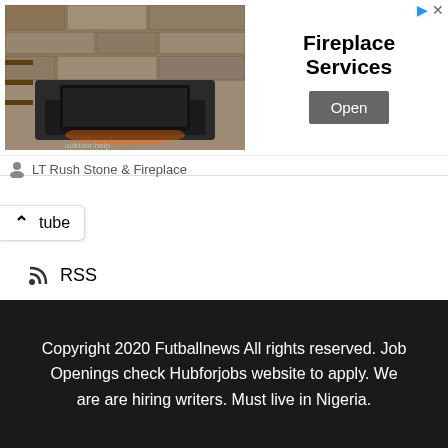[Figure (screenshot): Ad banner for Fireplace Services by LT Rush Stone & Fireplace, showing a stone fireplace image, bold title 'Fireplace Services', and an 'Open' button]
tube
RSS
ADS
[Figure (other): Two broken image placeholders side by side]
Copyright 2020 Futballnews All rights reserved. Job Openings check Hubforjobs website to apply. We are are hiring writers. Must live in Nigeria.